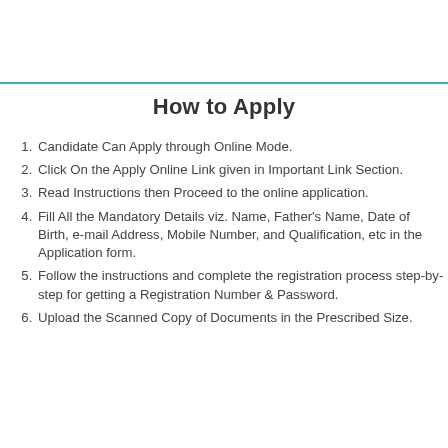How to Apply
Candidate Can Apply through Online Mode.
Click On the Apply Online Link given in Important Link Section.
Read Instructions then Proceed to the online application.
Fill All the Mandatory Details viz. Name, Father's Name, Date of Birth, e-mail Address, Mobile Number, and Qualification, etc in the Application form.
Follow the instructions and complete the registration process step-by-step for getting a Registration Number & Password.
Upload the Scanned Copy of Documents in the Prescribed Size.